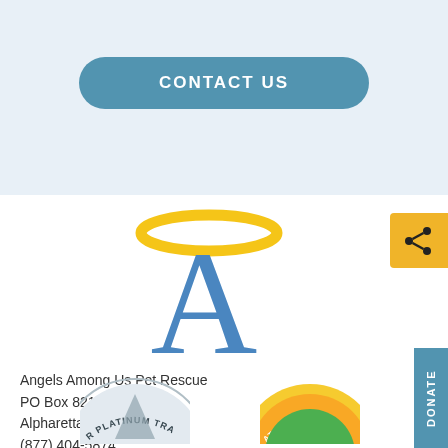CONTACT US
[Figure (logo): Angels Among Us Pet Rescue logo — large blue letter A with a golden halo above it]
[Figure (other): Yellow/gold share icon button on right edge]
Angels Among Us Pet Rescue
PO Box 821
Alpharetta, GA 30009
(877) 404-5874
[Figure (other): Platinum Transparency badge (partially visible, bottom left)]
[Figure (other): Great Nonprofit badge (partially visible, bottom center)]
DONATE